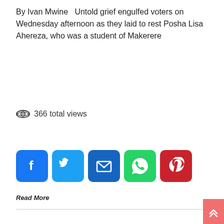By Ivan Mwine   Untold grief engulfed voters on Wednesday afternoon as they laid to rest Posha Lisa Ahereza, who was a student of Makerere
366 total views
[Figure (infographic): Social sharing buttons: Facebook (blue), Twitter (light blue), Email (dark blue), WhatsApp (green), Pinterest (red)]
Read More